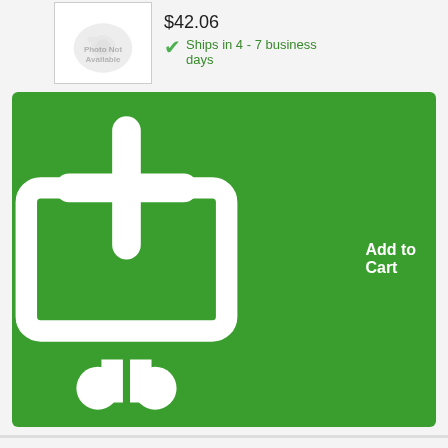$42.06
Ships in 4 - 7 business days
Add to Cart
14
[Figure (photo): Photo Not Available placeholder image for Hood]
Hood
$89.24
In Stock, 1 available
Add to Cart
15
[Figure (photo): Photo Not Available placeholder image for Lens]
Lens
$16.56
Ships in 4 - 7 business days